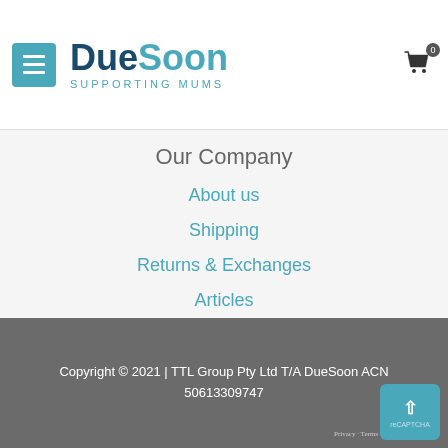[Figure (logo): DueSoon logo with menu hamburger icon and shopping cart with badge 0]
Our Company
About us
Shipping
Returns & Exchanges
Articles
Our Blog
Privacy policy
Terms & Conditions
Copyright © 2021 | TTL Group Pty Ltd T/A DueSoon ACN 50613309747